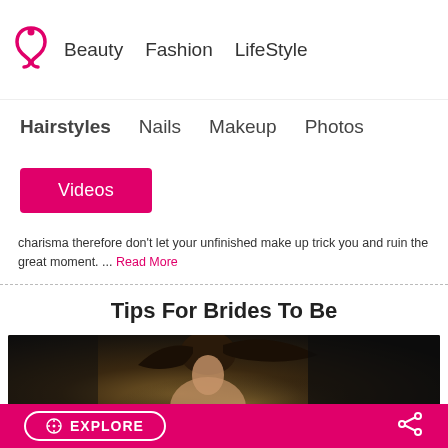Beauty   Fashion   LifeStyle
Hairstyles   Nails   Makeup   Photos
Videos
charisma therefore don't let your unfinished make up trick you and ruin the great moment. ... Read More
Tips For Brides To Be
[Figure (photo): Woman with flowing dark hair against dark background, wearing white, bridal editorial style photo]
EXPLORE  [share icon]